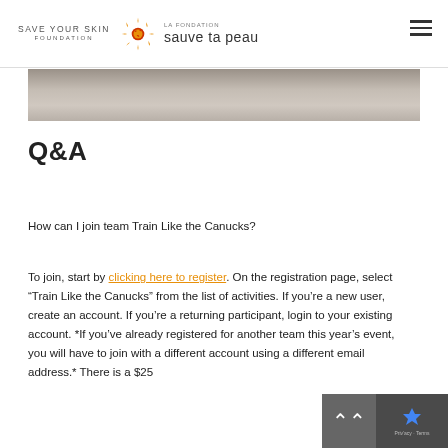save your skin foundation | LA FONDATION sauve ta peau
[Figure (photo): Bottom portion of a photo showing a person wearing a grey shirt, cropped to show only torso area]
Q&A
How can I join team Train Like the Canucks?
To join, start by clicking here to register. On the registration page, select “Train Like the Canucks” from the list of activities. If you’re a new user, create an account. If you’re a returning participant, login to your existing account. *If you’ve already registered for another team this year’s event, you will have to join with a different account using a different email address.* There is a $25